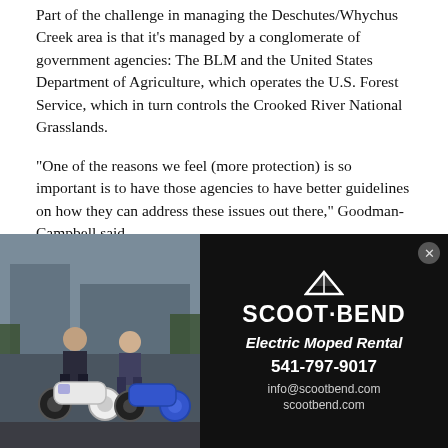Part of the challenge in managing the Deschutes/Whychus Creek area is that it's managed by a conglomerate of government agencies: The BLM and the United States Department of Agriculture, which operates the U.S. Forest Service, which in turn controls the Crooked River National Grasslands.
"One of the reasons we feel (more protection) is so important is to have those agencies to have better guidelines on how they can address these issues out there," Goodman-Campbell said.
An anniversary
The 10-year anniversary of the Oregon Badlands Wilderness and the Spring Basin Wilderness is March 30. Goodman-Campbell said ONDA is pushing legislators to help address issues happening at
[Figure (photo): Advertisement for Scoot Bend Electric Moped Rental. Left side shows a photo of two people with electric mopeds/scooters in a parking area. Right side is black background with Scoot Bend logo (tent/mountain icon), 'Electric Moped Rental' tagline, phone number 541-797-9017, info@scootbend.com, scootbend.com]